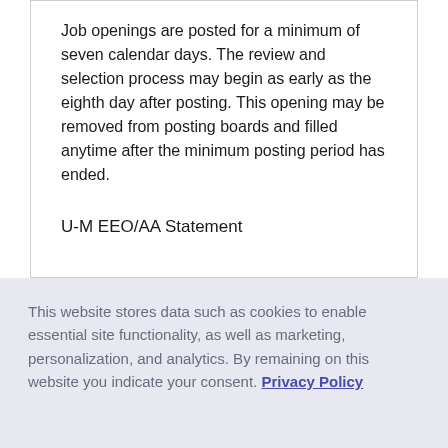Job openings are posted for a minimum of seven calendar days.  The review and selection process may begin as early as the eighth day after posting. This opening may be removed from posting boards and filled anytime after the minimum posting period has ended.
U-M EEO/AA Statement
This website stores data such as cookies to enable essential site functionality, as well as marketing, personalization, and analytics. By remaining on this website you indicate your consent. Privacy Policy